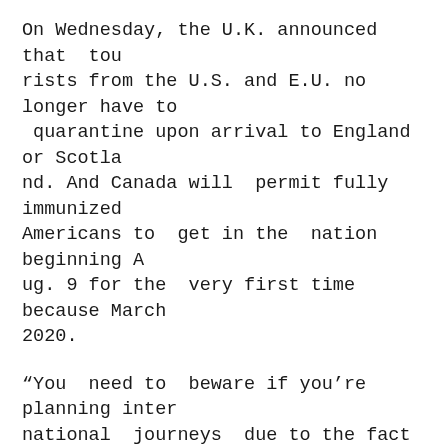On Wednesday, the U.K. announced that tourists from the U.S. and E.U. no longer have to quarantine upon arrival to England or Scotland. And Canada will permit fully immunized Americans to get in the nation beginning Aug. 9 for the very first time because March 2020.
“You need to beware if you’re planning international journeys due to the fact that there might be altering travel restrictions turning up that we simply can’t predict at this point,” Lipps says.
Testing requirements, stay-at-home orders, and quarantine requirements also differ from location to location.